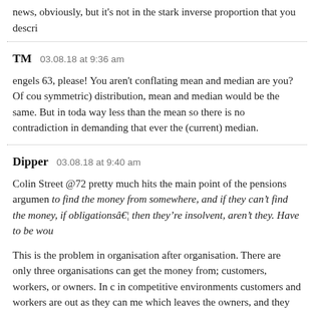news, obviously, but it's not in the stark inverse proportion that you descri
TM  03.08.18 at 9:36 am

engels 63, please! You aren't conflating mean and median are you? Of cou symmetric) distribution, mean and median would be the same. But in toda way less than the mean so there is no contradiction in demanding that ever the (current) median.
Dipper  03.08.18 at 9:40 am

Colin Street @72 pretty much hits the main point of the pensions argumen to find the money from somewhere, and if they can't find the money, if obligationsâ€¦ then they're insolvent, aren't they. Have to be wou

This is the problem in organisation after organisation. There are only three organisations can get the money from; customers, workers, or owners. In c in competitive environments customers and workers are out as they can me which leaves the owners, and they generally elect to go bust if the burden b billion is quite a burden, hence the Pension Protection Fund